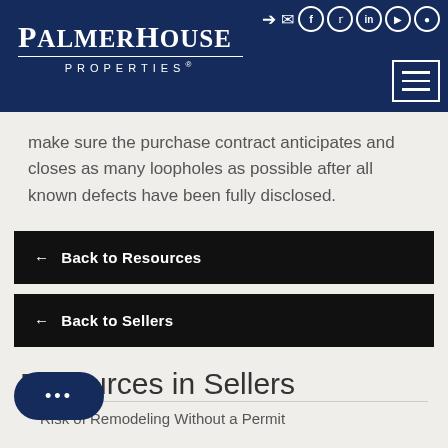PalmerHouse Properties
make sure the purchase contract anticipates and closes as many loopholes as possible after all known defects have been fully disclosed.
← Back to Resources
← Back to Sellers
Resources in Sellers
Risk of Remodeling Without a Permit